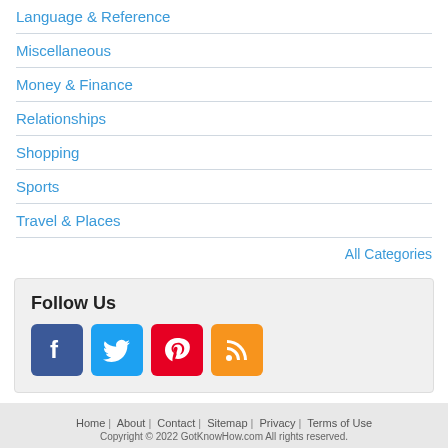Language & Reference
Miscellaneous
Money & Finance
Relationships
Shopping
Sports
Travel & Places
All Categories
Follow Us
[Figure (illustration): Social media icons: Facebook (blue), Twitter (light blue), Pinterest (red), RSS feed (orange)]
Home | About | Contact | Sitemap | Privacy | Terms of Use
Copyright © 2022 GotKnowHow.com All rights reserved.